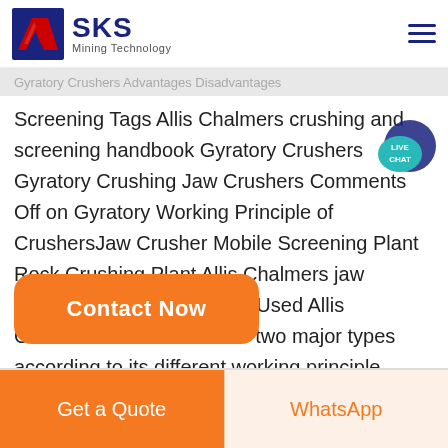[Figure (logo): SKS Mining Technology logo with stylized S arrow graphic in red/blue and company name]
Screening Tags Allis Chalmers crushing and screening handbook Gyratory Crushers Gyratory Crushing Jaw Crushers Comments Off on Gyratory Working Principle of CrushersJaw Crusher Mobile Screening Plant Rock Crushing Plant Allis Chalmers jaw crusher supplier worldwide Used Allis Chalmers 24 x 10 Jaw into two major types according to its different working principle Double toggle ja
Contact Now
Get a Quote
WhatsApp